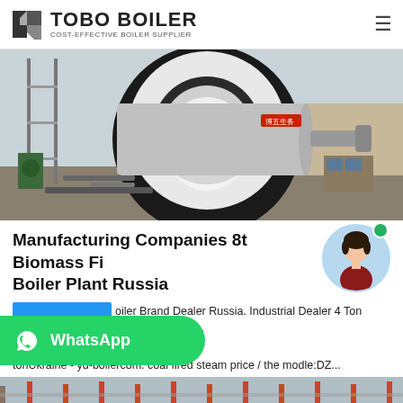TOBO BOILER — COST-EFFECTIVE BOILER SUPPLIER
[Figure (photo): Industrial boiler (large cylindrical black and silver unit) being installed outdoors at a construction site, with scaffolding and equipment visible around it.]
Manufacturing Companies 8t Biomass Fired Boiler Plant Russia
oiler Brand Dealer Russia. Industrial Dealer 4 Ton strial 4 ton gas diesel oil steam boiler - n Diesel Boiler For Sale Russia. 4 tonUkraine - yd-boilercom. coal fired steam price / the modle:DZ...
[Figure (photo): Partial view of industrial boiler plant or facility (bottom strip).]